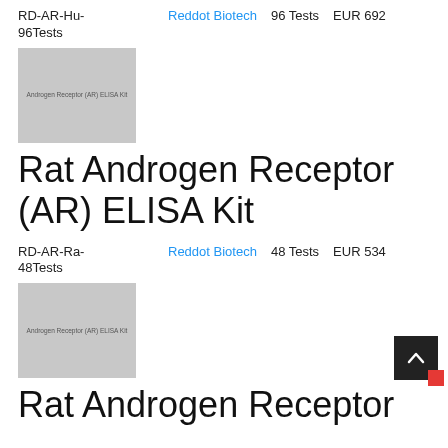RD-AR-Hu-96Tests
Reddot Biotech   96 Tests   EUR 692
[Figure (photo): Product image placeholder for Androgen Receptor (AR) ELISA Kit - human version]
Rat Androgen Receptor (AR) ELISA Kit
RD-AR-Ra-48Tests
Reddot Biotech   48 Tests   EUR 534
[Figure (photo): Product image placeholder for Androgen Receptor (AR) ELISA Kit - rat version]
Rat Androgen Receptor